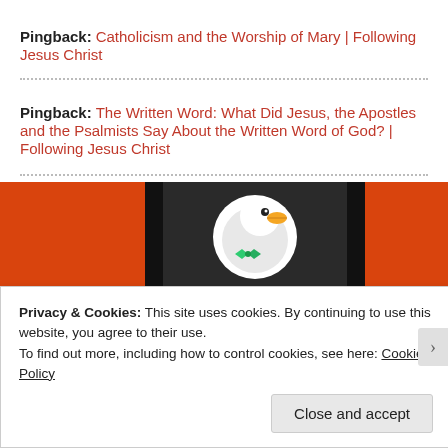Pingback: Catholicism and the Worship of Mary | Following Jesus Christ
Pingback: The Written Word: What Did Jesus, the Apostles and the Psalmists Say About the Written Word of God? | Following Jesus Christ
[Figure (logo): DuckDuckGo search engine banner with orange background and duck logo in center circle]
Privacy & Cookies: This site uses cookies. By continuing to use this website, you agree to their use.
To find out more, including how to control cookies, see here: Cookie Policy